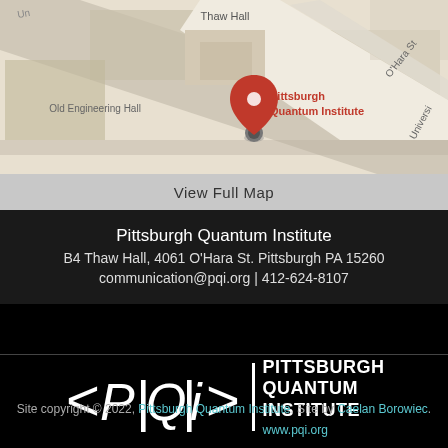[Figure (map): Google Maps screenshot showing Pittsburgh Quantum Institute location at Thaw Hall, with Old Engineering Hall visible and O'Hara St nearby. Red map pin labeled 'Pittsburgh Quantum Institute'.]
View Full Map
Pittsburgh Quantum Institute
B4 Thaw Hall, 4061 O'Hara St. Pittsburgh PA 15260
communication@pqi.org | 412-624-8107
[Figure (logo): Pittsburgh Quantum Institute logo: stylized <P|Q|i>| bra-ket notation symbol in white, followed by vertical bar, then text PITTSBURGH QUANTUM INSTITUTE in bold white with www.pqi.org in cyan below.]
Site copyright © 2022, Pittsburgh Quantum Institute. Site by Caelan Borowiec.